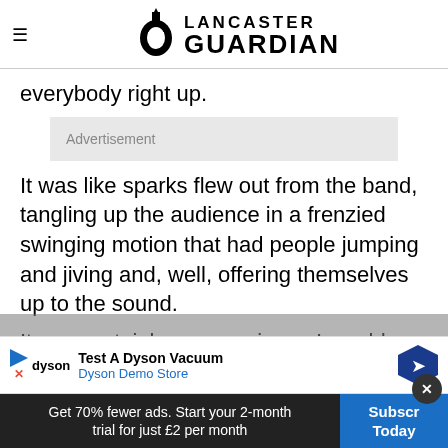Lancaster Guardian
everybody right up.
Advertisement
It was like sparks flew out from the band, tangling up the audience in a frenzied swinging motion that had people jumping and jiving and, well, offering themselves up to the sound.
It was certainly an experience I would never forget, and I was sure that many similar ones would follow.
Test A Dyson Vacuum Dyson Demo Store
Get 70% fewer ads. Start your 2-month trial for just £2 per month
Subscribe Today